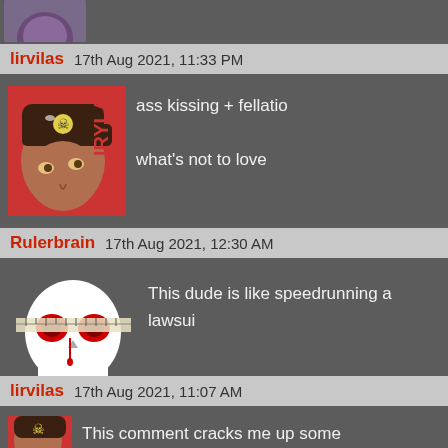[Figure (illustration): Partial avatar image at top left, cropped cartoon character with purple/dark colors]
lirvilas  17th Aug 2021, 11:33 PM
[Figure (illustration): Avatar of cartoon anime-style character with skull crossbones on forehead, brown hair, and red background]
ass kissing + fellatio

what's not to love
Rulerbrain  17th Aug 2021, 12:30 AM
[Figure (illustration): Avatar of a white skull with red glowing eyes and ruler/measuring tape across it, on dark background]
This dude is like speedrunning a lawsuit
lirvilas  17th Aug 2021, 11:07 AM
[Figure (illustration): Partial bottom avatar of same anime character with skull crossbones]
This comment cracks me up some